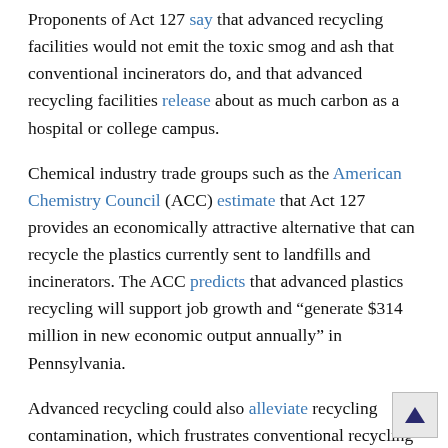Proponents of Act 127 say that advanced recycling facilities would not emit the toxic smog and ash that conventional incinerators do, and that advanced recycling facilities release about as much carbon as a hospital or college campus.
Chemical industry trade groups such as the American Chemistry Council (ACC) estimate that Act 127 provides an economically attractive alternative that can recycle the plastics currently sent to landfills and incinerators. The ACC predicts that advanced plastics recycling will support job growth and "generate $314 million in new economic output annually" in Pennsylvania.
Advanced recycling could also alleviate recycling contamination, which frustrates conventional recycling and inflates costs. Recycling contamination occurs